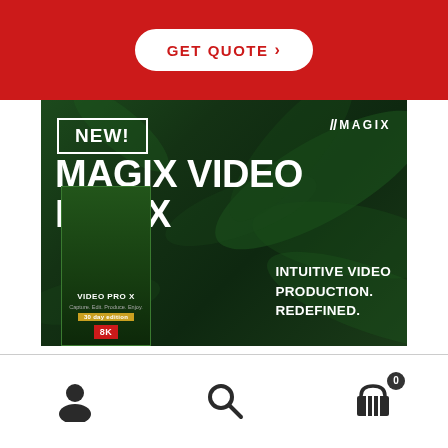[Figure (other): Red banner with GET QUOTE button and white border rounded rectangle]
[Figure (advertisement): MAGIX Video Pro X advertisement: dark green leafy background, NEW! badge, MAGIX logo with slashes, large white title MAGIX VIDEO PRO X, product box image on left, tagline INTUITIVE VIDEO PRODUCTION. REDEFINED. on bottom right]
[Figure (other): Footer navigation bar with user account icon, search icon, and shopping cart icon with badge showing 0]